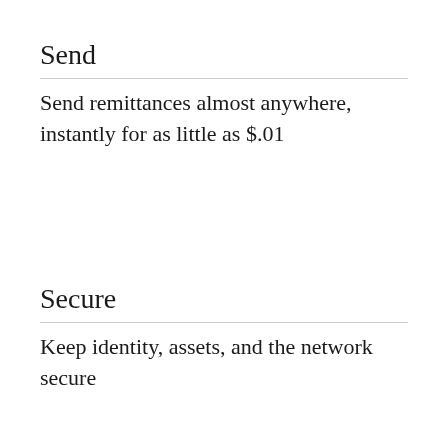Send
Send remittances almost anywhere, instantly for as little as $.01
Secure
Keep identity, assets, and the network secure